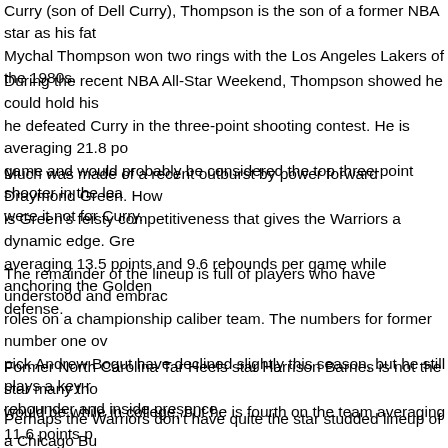Curry (son of Dell Curry), Thompson is the son of a former NBA star as his fat... Mychal Thompson won two rings with the Los Angeles Lakers of the 1980s.
During the recent NBA All-Star Weekend, Thompson showed he could hold his... he defeated Curry in the three-point shooting contest. He is averaging 21.8 po... game and would probably be considered the top three-point shooter in the lea... were it not for Curry.
Much was made of a recent outburst by power forward Draymond Green. How... is Green's feisty competitiveness that gives the Warriors a dynamic edge. Gre... averaging 13.5 points and 9.6 rebounds per game while anchoring the Golden... defense.
The remainder of the lineup is full of players who have understood and embrac... roles on a championship caliber team. The numbers for former number one ov... pick Andrew Bogut have declined slightly this season, but he still plays a key r... rebounder and inside presence.
Former North Carolina Tar Heels star Harrison Barnes is not the star many tho... would be while in college, but he is fourth on the team averaging 11.6 points p...
Perhaps the Warriors don't have quite the star studded lineup of a Chicago Bu... that included Hall of Famers Michael Jordan, Scottie Pippen and Dennis Rodn... they do have one connection to that famous team. Head coach Steve Kerr was... being a starting player for the Bulls, his journey as a coach with th...